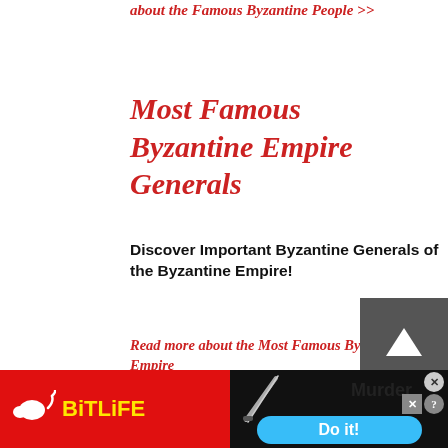about the Famous Byzantine People >>
Most Famous Byzantine Empire Generals
Discover Important Byzantine Generals of the Byzantine Empire!
Read more about the Most Famous Byzantine Empire
[Figure (screenshot): Back to top button — grey square with upward pointing triangle/arrow]
[Figure (screenshot): Advertisement banner: BitLife game ad on left (red background, yellow BitLife logo), Murder Do it! ad on right (dark background with blue Do it! button)]